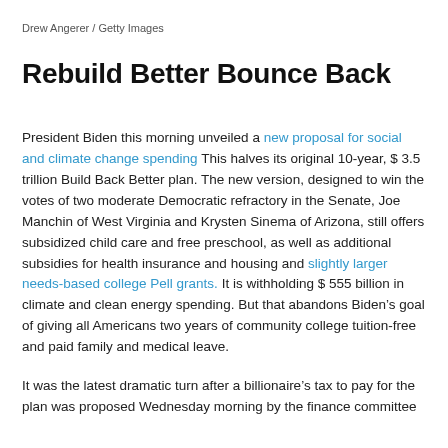Drew Angerer / Getty Images
Rebuild Better Bounce Back
President Biden this morning unveiled a new proposal for social and climate change spending This halves its original 10-year, $ 3.5 trillion Build Back Better plan. The new version, designed to win the votes of two moderate Democratic refractory in the Senate, Joe Manchin of West Virginia and Krysten Sinema of Arizona, still offers subsidized child care and free preschool, as well as additional subsidies for health insurance and housing and slightly larger needs-based college Pell grants. It is withholding $ 555 billion in climate and clean energy spending. But that abandons Biden’s goal of giving all Americans two years of community college tuition-free and paid family and medical leave.
It was the latest dramatic turn after a billionaire’s tax to pay for the plan was proposed Wednesday morning by the finance committee